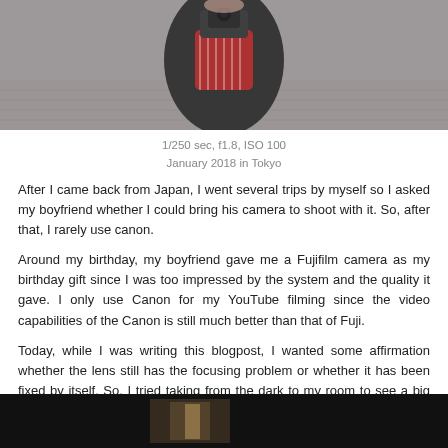[Figure (photo): Person in dark jacket with red and white striped scarf, holding a camera up to their face, photographed outdoors on a brick plaza]
1/250 sec, f1.8, ISO 100
January 2018 in Tokyo
After I came back from Japan, I went several trips by myself so I asked my boyfriend whether I could bring his camera to shoot with it. So, after that, I rarely use canon.
Around my birthday, my boyfriend gave me a Fujifilm camera as my birthday gift since I was too impressed by the system and the quality it gave. I only use Canon for my YouTube filming since the video capabilities of the Canon is still much better than that of Fuji.
Today, while I was writing this blogpost, I wanted some affirmation whether the lens still has the focusing problem or whether it has been fixed by itself. So, I tried taking from the dark to my room to see a big contrast and lines to see the sharpness clearly.
[Figure (photo): Dark indoor photograph showing high contrast scene, taken to test lens sharpness and focusing]